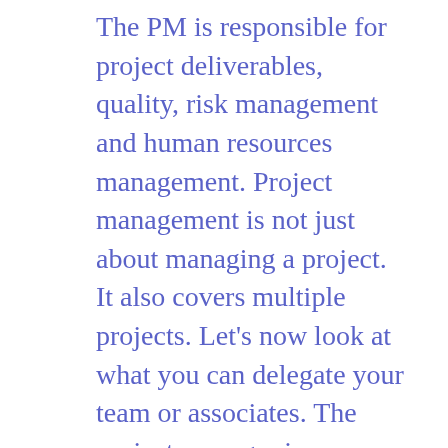The PM is responsible for project deliverables, quality, risk management and human resources management. Project management is not just about managing a project. It also covers multiple projects. Let's now look at what you can delegate your team or associates. The project manager is responsible for scheduling and hosting meetings. You can ask your team leaders or other team members to schedule scrum events, code review meetings, and internal product/project discussions. When a team member moves on, creates risk